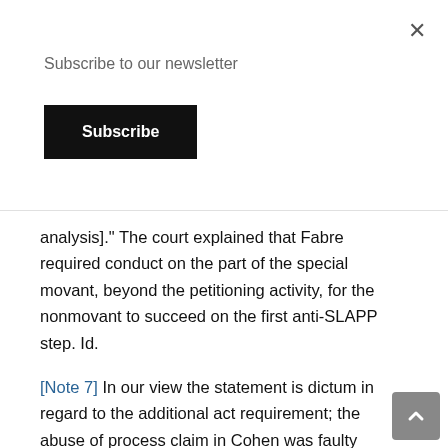Subscribe to our newsletter
Subscribe
analysis]." The court explained that Fabre required conduct on the part of the special movant, beyond the petitioning activity, for the nonmovant to succeed on the first anti-SLAPP step. Id.
[Note 7] In our view the statement is dictum in regard to the additional act requirement; the abuse of process claim in Cohen was faulty because no ulterior motive was involved. See Cohen v. Hurley, 20 Mass. App. Ct. at 442.
[Note 8] Although Prosser & Keeton, Torts § 121, at 898 n.14 (1984), cites Elliott v. Warwick Stores, Inc., 329 Mass. 406 (1952), for the proposition that